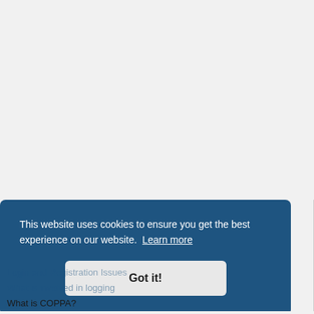[Figure (screenshot): Cookie consent banner overlay on a website. Blue rounded rectangle banner with text: 'This website uses cookies to ensure you get the best experience on our website. Learn more' and a 'Got it!' button.]
Login and Registration Issues
What is COPPA?